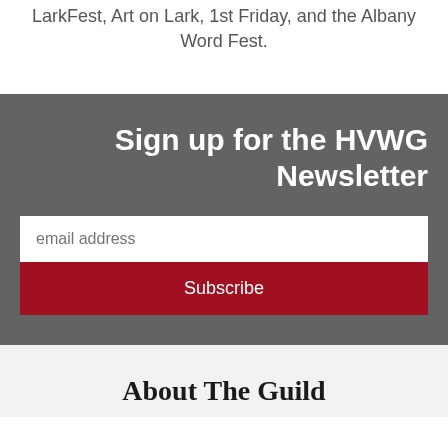LarkFest, Art on Lark, 1st Friday, and the Albany Word Fest.
Sign up for the HVWG Newsletter
email address
Subscribe
About The Guild